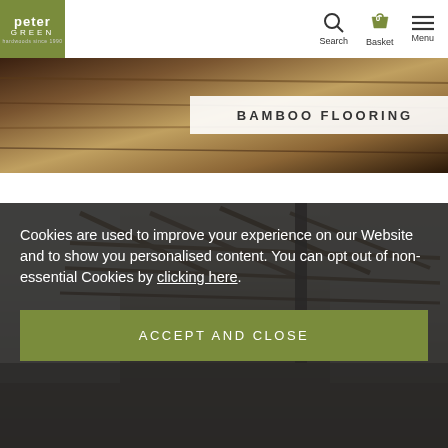Peter Green hardwoods since 1990 — Search, Basket, Menu navigation
[Figure (photo): Bamboo flooring banner image with wooden floor background and white banner reading BAMBOO FLOORING]
[Figure (photo): Interior photo showing rustic bamboo/timber roof structure with exposed beams in a white-walled room]
Cookies are used to improve your experience on our Website and to show you personalised content. You can opt out of non-essential Cookies by clicking here.
ACCEPT AND CLOSE